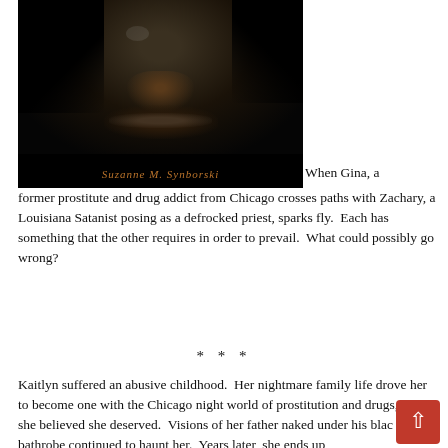[Figure (photo): Dark book cover showing a man's tattooed face in shadow wearing a hood, with the author name 'Suzanne M. Synborski' in orange cursive text at the bottom]
When Gina, a former prostitute and drug addict from Chicago crosses paths with Zachary, a Louisiana Satanist posing as a defrocked priest, sparks fly. Each has something that the other requires in order to prevail. What could possibly go wrong?
* * *
Kaitlyn suffered an abusive childhood. Her nightmare family life drove her to become one with the Chicago night world of prostitution and drugs, all she believed she deserved. Visions of her father naked under his black bathrobe continued to haunt her. Years later, she ends up